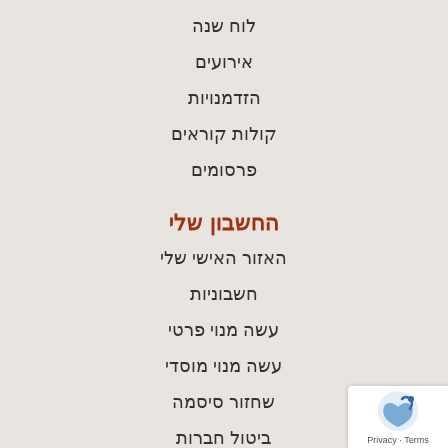לוח שנה
אירועים
הזדמנויות
קולות קוראים
פרסומים
החשבון שלי
האזור האישי שלי
חשבוניות
עשה מנוי פרטי
עשה מנוי מוסדי
שחזור סיסמה
ביטול חברות
Q & A – מנוי ברמה
שירותים